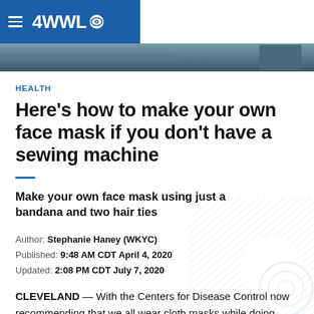4WWL CBS (logo header bar)
[Figure (photo): Partial photo strip showing a dark/blurred background image]
HEALTH
Here's how to make your own face mask if you don't have a sewing machine
Make your own face mask using just a bandana and two hair ties
Author: Stephanie Haney (WKYC)
Published: 9:48 AM CDT April 4, 2020
Updated: 2:08 PM CDT July 7, 2020
CLEVELAND — With the Centers for Disease Control now recommending that we all wear cloth masks while doing